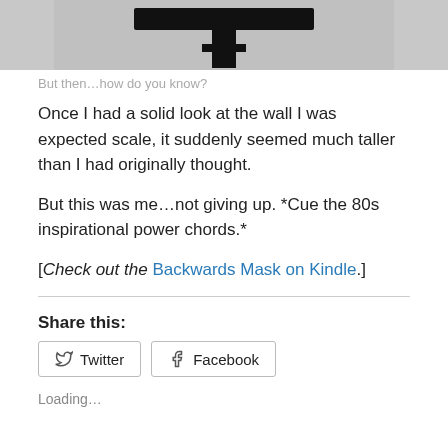[Figure (photo): Black and white photo of a T-shaped road sign or pole against a grey sky, cropped at top]
But then…how do you know?
Once I had a solid look at the wall I was expected scale, it suddenly seemed much taller than I had originally thought.
But this was me…not giving up. *Cue the 80s inspirational power chords.*
[Check out the Backwards Mask on Kindle.]
Share this:
Twitter  Facebook
Loading…